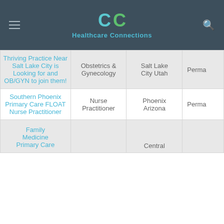Healthcare Connections
| Job Title | Specialty | Location | Type |
| --- | --- | --- | --- |
| Thriving Practice Near Salt Lake City is Looking for and OB/GYN to join them! | Obstetrics & Gynecology | Salt Lake City Utah | Perma... |
| Southern Phoenix Primary Care FLOAT Nurse Practitioner | Nurse Practitioner | Phoenix Arizona | Perma... |
| Family Medicine Primary Care |  | Central |  |